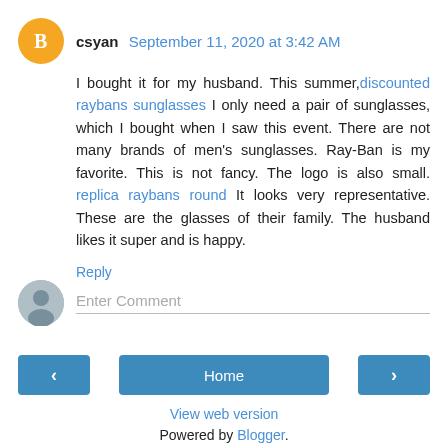csyan  September 11, 2020 at 3:42 AM
I bought it for my husband. This summer, discounted raybans sunglasses I only need a pair of sunglasses, which I bought when I saw this event. There are not many brands of men's sunglasses. Ray-Ban is my favorite. This is not fancy. The logo is also small. replica raybans round It looks very representative. These are the glasses of their family. The husband likes it super and is happy.
Reply
Enter Comment
Home
View web version
Powered by Blogger.